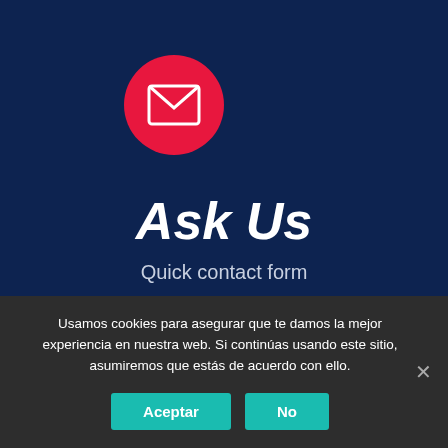[Figure (illustration): Red circle with white envelope/mail icon on dark navy blue background]
Ask Us
Quick contact form
Usamos cookies para asegurar que te damos la mejor experiencia en nuestra web. Si continúas usando este sitio, asumiremos que estás de acuerdo con ello.
Aceptar | No